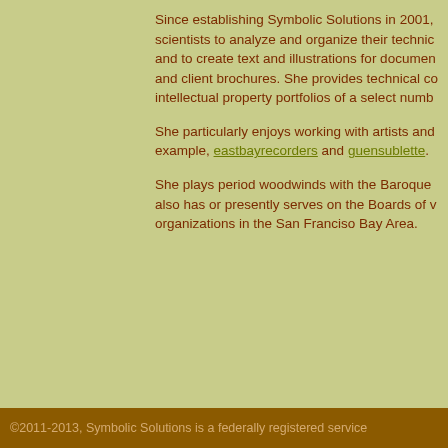Since establishing Symbolic Solutions in 2001, scientists to analyze and organize their technical and to create text and illustrations for documents and client brochures. She provides technical co- intellectual property portfolios of a select number
She particularly enjoys working with artists and example, eastbayrecorders and guensublette.
She plays period woodwinds with the Baroque also has or presently serves on the Boards of various organizations in the San Franciso Bay Area.
©2011-2013, Symbolic Solutions is a federally registered service